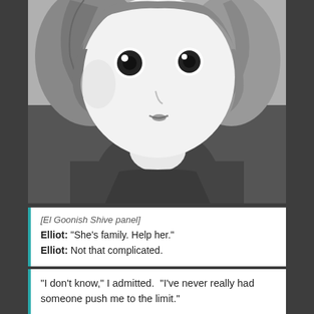[Figure (illustration): El Goonish Shive webcomic panel showing a close-up of a character (Elliot) with short brown hair, large anime-style eyes, and wearing a dark shirt. The artwork is in grayscale/black and white sketch style.]
[El Goonish Shive panel]
Elliot: "She's family. Help her."
Elliot: Not that complicated.
"I don't know," I admitted.  "I've never really had someone push me to the limit."